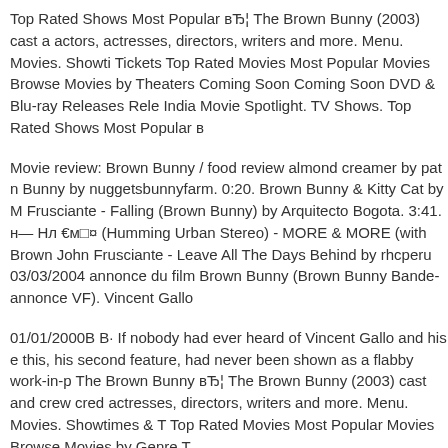Top Rated Shows Most Popular вЂ¦ The Brown Bunny (2003) cast a actors, actresses, directors, writers and more. Menu. Movies. Showti Tickets Top Rated Movies Most Popular Movies Browse Movies by Theaters Coming Soon Coming Soon DVD & Blu-ray Releases Rele India Movie Spotlight. TV Shows. Top Rated Shows Most Popular в
Movie review: Brown Bunny / food review almond creamer by pat n Bunny by nuggetsbunnyfarm. 0:20. Brown Bunny & Kitty Cat by M Frusciante - Falling (Brown Bunny) by Arquitecto Bogota. 3:41. н— Нл €м□¤ (Humming Urban Stereo) - MORE & MORE (with Brown John Frusciante - Leave All The Days Behind by rhcperu 03/03/2004 annonce du film Brown Bunny (Brown Bunny Bande-annonce VF). Vincent Gallo
01/01/2000В В· If nobody had ever heard of Vincent Gallo and his e this, his second feature, had never been shown as a flabby work-in-p The Brown Bunny вЂ¦ The Brown Bunny (2003) cast and crew cred actresses, directors, writers and more. Menu. Movies. Showtimes & T Top Rated Movies Most Popular Movies Browse Movies by Genre T